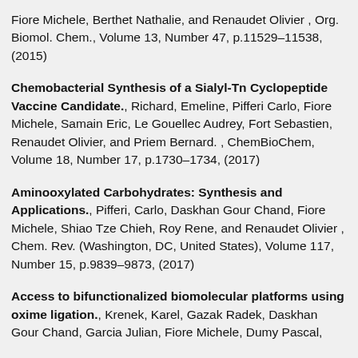Fiore Michele, Berthet Nathalie, and Renaudet Olivier , Org. Biomol. Chem., Volume 13, Number 47, p.11529–11538, (2015)
Chemobacterial Synthesis of a Sialyl-Tn Cyclopeptide Vaccine Candidate., Richard, Emeline, Pifferi Carlo, Fiore Michele, Samain Eric, Le Gouellec Audrey, Fort Sebastien, Renaudet Olivier, and Priem Bernard. , ChemBioChem, Volume 18, Number 17, p.1730–1734, (2017)
Aminooxylated Carbohydrates: Synthesis and Applications., Pifferi, Carlo, Daskhan Gour Chand, Fiore Michele, Shiao Tze Chieh, Roy Rene, and Renaudet Olivier , Chem. Rev. (Washington, DC, United States), Volume 117, Number 15, p.9839–9873, (2017)
Access to bifunctionalized biomolecular platforms using oxime ligation., Krenek, Karel, Gazak Radek, Daskhan Gour Chand, Garcia Julian, Fiore Michele, Dumy Pascal,